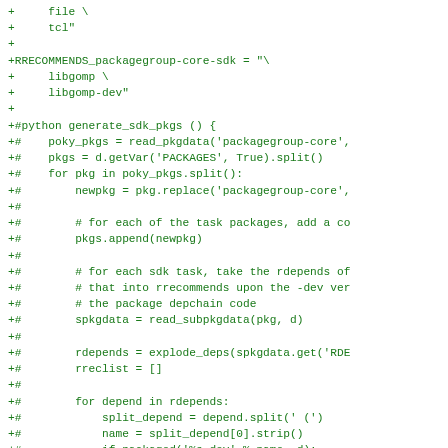+     file \
+     tcl"
+
+RRECOMMENDS_packagegroup-core-sdk = "\
+     libgomp \
+     libgomp-dev"
+
+#python generate_sdk_pkgs () {
+#    poky_pkgs = read_pkgdata('packagegroup-core',
+#    pkgs = d.getVar('PACKAGES', True).split()
+#    for pkg in poky_pkgs.split():
+#        newpkg = pkg.replace('packagegroup-core',
+#
+#        # for each of the task packages, add a co
+#        pkgs.append(newpkg)
+#
+#        # for each sdk task, take the rdepends of
+#        # that into rrecommends upon the -dev ver
+#        # the package depchain code
+#        spkgdata = read_subpkgdata(pkg, d)
+#
+#        rdepends = explode_deps(spkgdata.get('RDE
+#        rreclist = []
+#
+#        for depend in rdepends:
+#            split_depend = depend.split(' (')
+#            name = split_depend[0].strip()
+#            if packaged('%s-dev' % name, d):
+#                rreclist.append('%s-dev' % name)
+#        else: